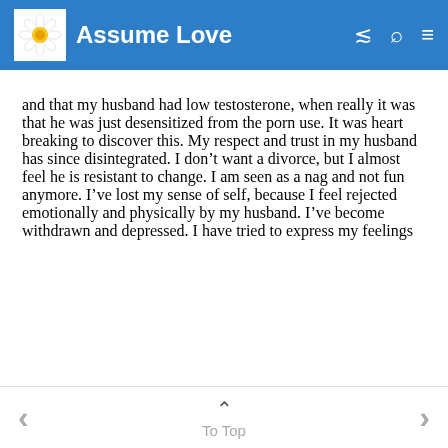Assume Love
and that my husband had low testosterone, when really it was that he was just desensitized from the porn use. It was heart breaking to discover this. My respect and trust in my husband has since disintegrated. I don't want a divorce, but I almost feel he is resistant to change. I am seen as a nag and not fun anymore. I've lost my sense of self, because I feel rejected emotionally and physically by my husband. I've become withdrawn and depressed. I have tried to express my feelings
To Top